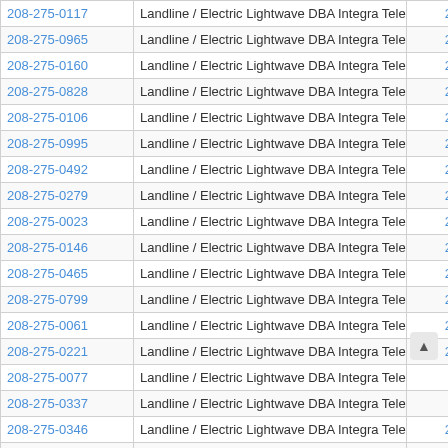| Phone | Type | Code |
| --- | --- | --- |
| 208-275-0117 | Landline / Electric Lightwave DBA Integra Telecom | 20827 |
| 208-275-0965 | Landline / Electric Lightwave DBA Integra Telecom | 20827 |
| 208-275-0160 | Landline / Electric Lightwave DBA Integra Telecom | 20827 |
| 208-275-0828 | Landline / Electric Lightwave DBA Integra Telecom | 20827 |
| 208-275-0106 | Landline / Electric Lightwave DBA Integra Telecom | 20827 |
| 208-275-0995 | Landline / Electric Lightwave DBA Integra Telecom | 20827 |
| 208-275-0492 | Landline / Electric Lightwave DBA Integra Telecom | 20827 |
| 208-275-0279 | Landline / Electric Lightwave DBA Integra Telecom | 20827 |
| 208-275-0023 | Landline / Electric Lightwave DBA Integra Telecom | 20827 |
| 208-275-0146 | Landline / Electric Lightwave DBA Integra Telecom | 20827 |
| 208-275-0465 | Landline / Electric Lightwave DBA Integra Telecom | 20827 |
| 208-275-0799 | Landline / Electric Lightwave DBA Integra Telecom | 20827 |
| 208-275-0061 | Landline / Electric Lightwave DBA Integra Telecom | 20827 |
| 208-275-0221 | Landline / Electric Lightwave DBA Integra Telecom | 20827 |
| 208-275-0077 | Landline / Electric Lightwave DBA Integra Telecom | 327 |
| 208-275-0337 | Landline / Electric Lightwave DBA Integra Telecom | 27 |
| 208-275-0346 | Landline / Electric Lightwave DBA Integra Telecom | 20827 |
| 208-275-0033 | Landline / Electric Lightwave DBA Integra Telecom | 20827 |